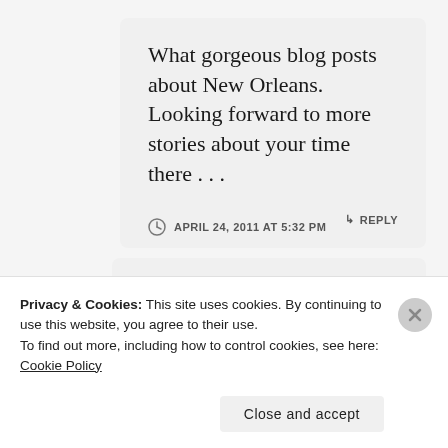What gorgeous blog posts about New Orleans. Looking forward to more stories about your time there . . .
APRIL 24, 2011 AT 5:32 PM
↳ REPLY
Privacy & Cookies: This site uses cookies. By continuing to use this website, you agree to their use.
To find out more, including how to control cookies, see here: Cookie Policy
Close and accept